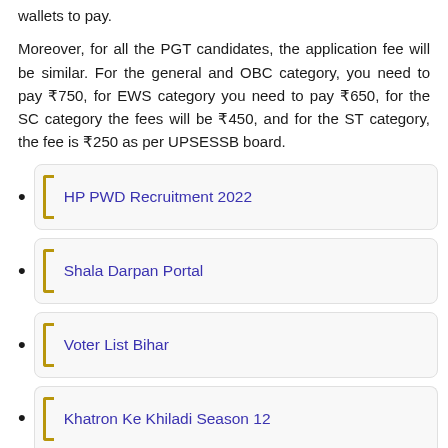wallets to pay.
Moreover, for all the PGT candidates, the application fee will be similar. For the general and OBC category, you need to pay ₹750, for EWS category you need to pay ₹650, for the SC category the fees will be ₹450, and for the ST category, the fee is ₹250 as per UPSESSB board.
HP PWD Recruitment 2022
Shala Darpan Portal
Voter List Bihar
Khatron Ke Khiladi Season 12